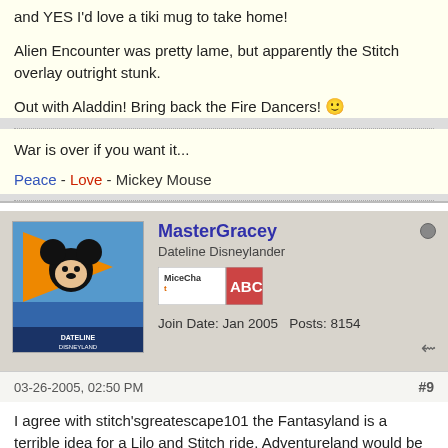and YES I'd love a tiki mug to take home!
Alien Encounter was pretty lame, but apparently the Stitch overlay outright stunk.
Out with Aladdin! Bring back the Fire Dancers! 🙂
War is over if you want it...
Peace - Love - Mickey Mouse
MasterGracey
Dateline Disneylander
Join Date: Jan 2005   Posts: 8154
03-26-2005, 02:50 PM
#9
I agree with stitch'sgreatescape101 the Fantasyland is a terrible idea for a Lilo and Stitch ride. Adventureland would be an ideal